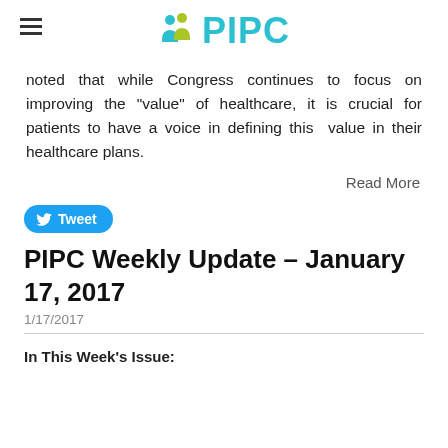PIPC
noted that while Congress continues to focus on improving the "value" of healthcare, it is crucial for patients to have a voice in defining this value in their healthcare plans.
Read More
Tweet
PIPC Weekly Update - January 17, 2017
1/17/2017
In This Week's Issue: